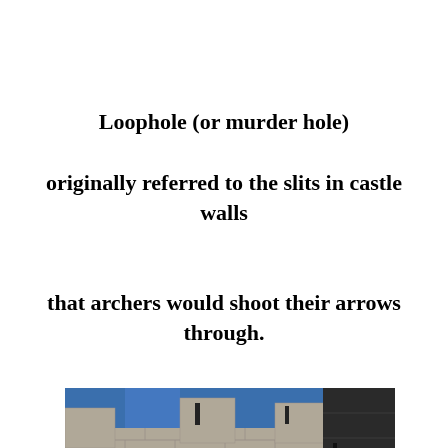Loophole (or murder hole)
originally referred to the slits in castle walls
that archers would shoot their arrows through.
[Figure (photo): Photograph of a castle wall with battlements (crenellations) and narrow loopholes/arrow slits visible in the stone masonry, taken from a low angle against a blue sky.]